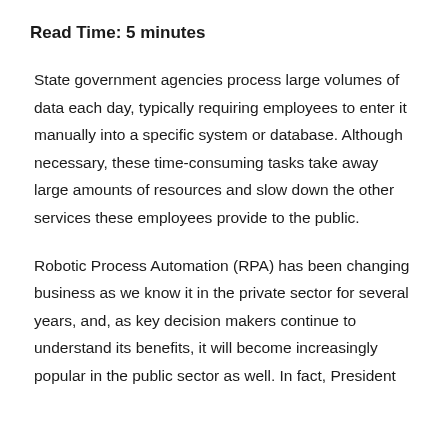Read Time: 5 minutes
State government agencies process large volumes of data each day, typically requiring employees to enter it manually into a specific system or database. Although necessary, these time-consuming tasks take away large amounts of resources and slow down the other services these employees provide to the public.
Robotic Process Automation (RPA) has been changing business as we know it in the private sector for several years, and, as key decision makers continue to understand its benefits, it will become increasingly popular in the public sector as well. In fact, President